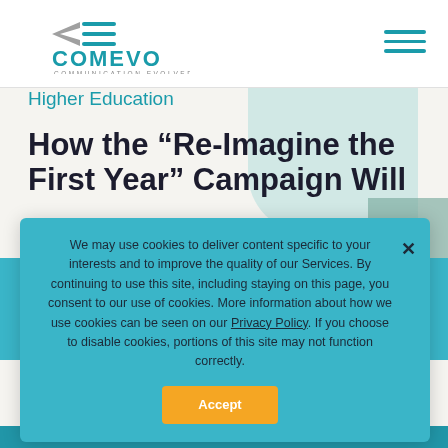[Figure (logo): COMEVO logo with tagline COMMUNICATION EVOLVED and arrow icon in teal/gray]
[Figure (other): Hamburger menu icon with three teal horizontal lines]
Higher Education
How the “Re-Imagine the First Year” Campaign Will Shape Your Institution’s Future
March 17, 2016
We may use cookies to deliver content specific to your interests and to improve the quality of our Services. By continuing to use this site, including staying on this page, you consent to our use of cookies. More information about how we use cookies can be seen on our Privacy Policy. If you choose to disable cookies, portions of this site may not function correctly.
Accept